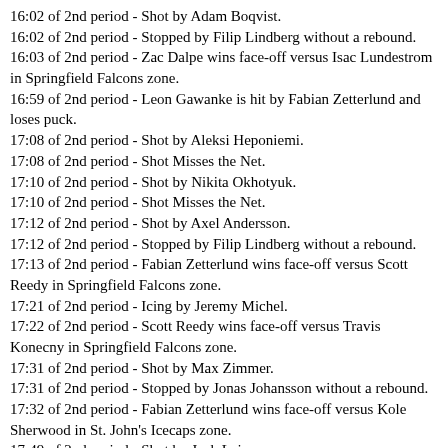16:02 of 2nd period - Shot by Adam Boqvist.
16:02 of 2nd period - Stopped by Filip Lindberg without a rebound.
16:03 of 2nd period - Zac Dalpe wins face-off versus Isac Lundestrom in Springfield Falcons zone.
16:59 of 2nd period - Leon Gawanke is hit by Fabian Zetterlund and loses puck.
17:08 of 2nd period - Shot by Aleksi Heponiemi.
17:08 of 2nd period - Shot Misses the Net.
17:10 of 2nd period - Shot by Nikita Okhotyuk.
17:10 of 2nd period - Shot Misses the Net.
17:12 of 2nd period - Shot by Axel Andersson.
17:12 of 2nd period - Stopped by Filip Lindberg without a rebound.
17:13 of 2nd period - Fabian Zetterlund wins face-off versus Scott Reedy in Springfield Falcons zone.
17:21 of 2nd period - Icing by Jeremy Michel.
17:22 of 2nd period - Scott Reedy wins face-off versus Travis Konecny in Springfield Falcons zone.
17:31 of 2nd period - Shot by Max Zimmer.
17:31 of 2nd period - Stopped by Jonas Johansson without a rebound.
17:32 of 2nd period - Fabian Zetterlund wins face-off versus Kole Sherwood in St. John's Icecaps zone.
17:49 of 2nd period - Shot by Josh Leivo.